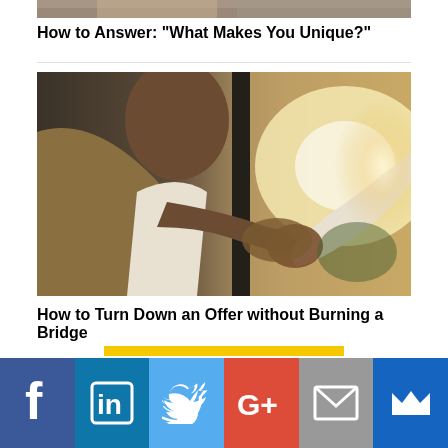[Figure (photo): Cropped top of a photo, partial view of people]
How to Answer: "What Makes You Unique?"
[Figure (photo): Two people shaking hands, one in a tan/brown jacket, bright sunlight in background, close-up of handshake]
How to Turn Down an Offer without Burning a Bridge
[Figure (infographic): Social media share bar with icons: Facebook, LinkedIn, Twitter, Google+, Email, Crown/Newsletter]